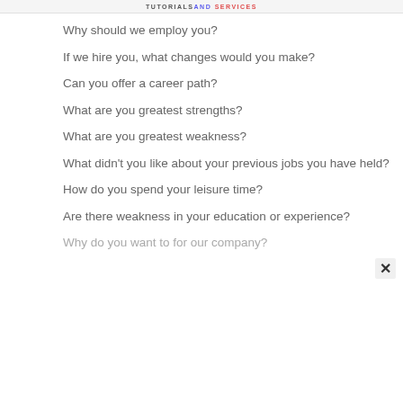TUTORIALS AND SERVICES
Why should we employ you?
If we hire you, what changes would you make?
Can you offer a career path?
What are you greatest strengths?
What are you greatest weakness?
What didn't you like about your previous jobs you have held?
How do you spend your leisure time?
Are there weakness in your education or experience?
Why do you want to for our company?